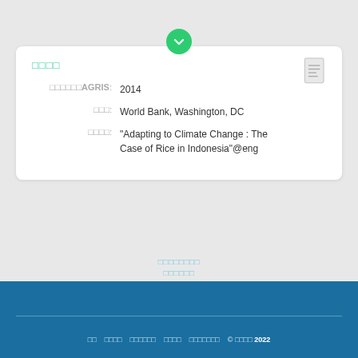□□□□
□□□□□□AGRIS: 2014
□□□: World Bank, Washington, DC
□□□□: "Adapting to Climate Change : The Case of Rice in Indonesia"@eng
□□□□□□□□
□□□□□□
□□
□□□□□□□□□
□□□□
□□  □□□□  □□□□□□  □□□□  □□□□□□□  © □□□□ 2022